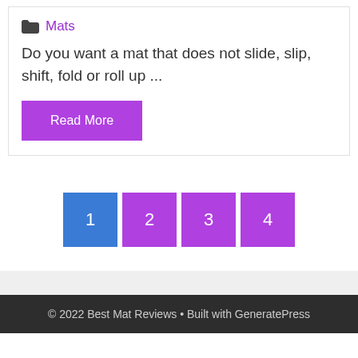Mats
Do you want a mat that does not slide, slip, shift, fold or roll up ...
Read More
1  2  3  4
© 2022 Best Mat Reviews • Built with GeneratePress